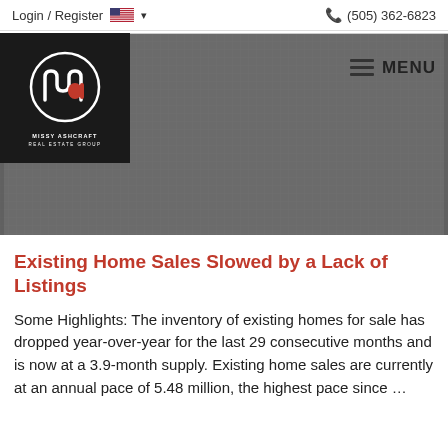Login / Register   (505) 362-6823
[Figure (logo): Missy Ashcraft Real Estate Group logo — white circle with stylized 'ma' letters on black background with text MISSY ASHCRAFT REAL ESTATE GROUP below]
[Figure (photo): Hero background image — dark grey textured/patterned background]
Existing Home Sales Slowed by a Lack of Listings
Some Highlights: The inventory of existing homes for sale has dropped year-over-year for the last 29 consecutive months and is now at a 3.9-month supply. Existing home sales are currently at an annual pace of 5.48 million, the highest pace since …